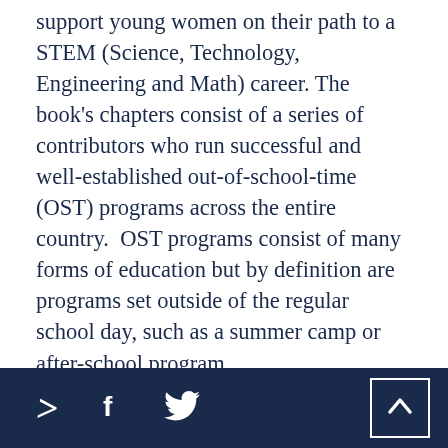support young women on their path to a STEM (Science, Technology, Engineering and Math) career. The book's chapters consist of a series of contributors who run successful and well-established out-of-school-time (OST) programs across the entire country.  OST programs consist of many forms of education but by definition are programs set outside of the regular school day, such as a summer camp or after-school program.
For the state of Nevada, where national standardized test scores have
> f [twitter icon] [up arrow]